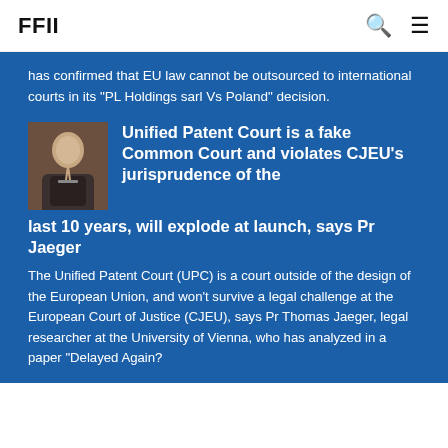FFII
has confirmed that EU law cannot be outsourced to international courts in its "PL Holdings sarl Vs Poland" decision.
Unified Patent Court is a fake Common Court and violates CJEU's jurisprudence of the last 10 years, will explode at launch, says Pr Jaeger
The Unified Patent Court (UPC) is a court outside of the design of the European Union, and won't survive a legal challenge at the European Court of Justice (CJEU), says Pr Thomas Jaeger, legal researcher at the University of Vienna, who has analyzed in a paper "Delayed Again?